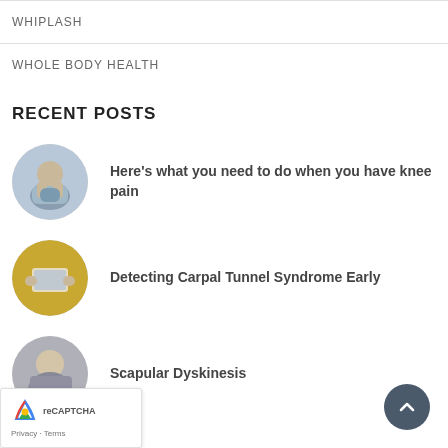WHIPLASH
WHOLE BODY HEALTH
RECENT POSTS
[Figure (photo): Circular thumbnail of a person with knee pain, holding knee with hands]
Here's what you need to do when you have knee pain
[Figure (photo): Circular thumbnail of a person using a tablet device with golden background blur]
Detecting Carpal Tunnel Syndrome Early
[Figure (photo): Circular thumbnail of a person, partially visible, showing shoulder/neck area]
Scapular Dyskinesis